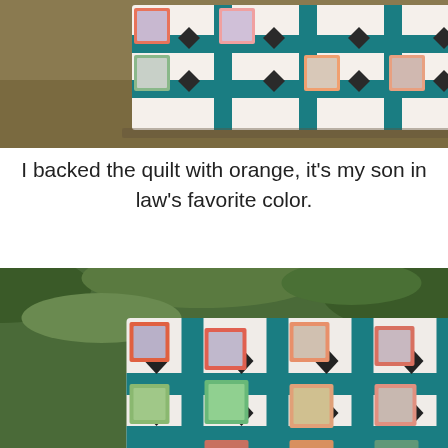[Figure (photo): Top portion of a colorful patchwork quilt with teal, white, black diamond, and multicolored square blocks, laid out on grass/leaves background]
I backed the quilt with orange, it's my son in law's favorite color.
[Figure (photo): Full view of a colorful patchwork quilt with teal strips, white background, black diamond shapes, and multicolored framed square blocks, draped over outdoor furniture with green leaves/bushes in background]